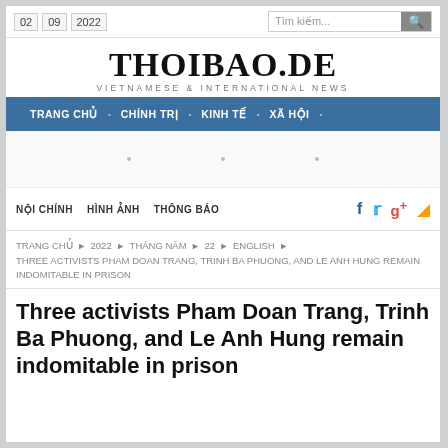02 09 2022 | Tìm kiếm...
THOIBAO.DE — VIETNAMESE & INTERNATIONAL NEWS
TRANG CHỦ • CHÍNH TRỊ • KINH TẾ • XÃ HỘI •
NỘI CHÍNH   HÌNH ẢNH   THÔNG BÁO
TRANG CHỦ ▶ 2022 ▶ THÁNG NĂM ▶ 22 ▶ ENGLISH ▶ THREE ACTIVISTS PHAM DOAN TRANG, TRINH BA PHUONG, AND LE ANH HUNG REMAIN INDOMITABLE IN PRISON
Three activists Pham Doan Trang, Trinh Ba Phuong, and Le Anh Hung remain indomitable in prison